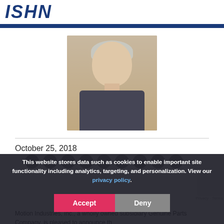ISHN
[Figure (photo): Professional headshot of an older man with grey/white hair, wearing a dark blazer over a blue patterned shirt, smiling.]
October 25, 2018
This website stores data such as cookies to enable important site functionality including analytics, targeting, and personalization. View our privacy policy.
Motion Industries, Inc., a wholly owned subsidiary Genuine Parts Company, is pleased to announce th addition of Hal Midkiff as Product Sales Manager